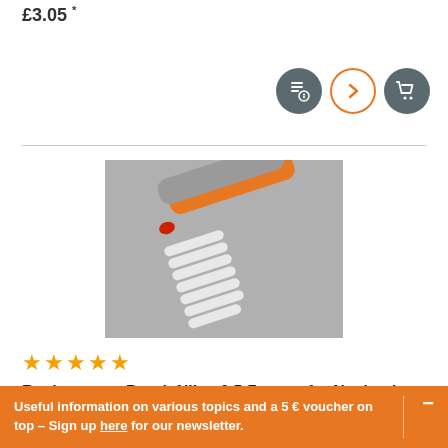£3.05 *
[Figure (screenshot): Three circular icon buttons: a dark grey wishlist/list icon, an orange outlined arrow/next icon, and a dark grey shopping cart icon]
[Figure (photo): Product photo showing orange and grey Neuland marker pens alongside a row of white replacement brush nibs arranged diagonally on a grey background]
★★★★★
Replacement Brush Nibs, 0.5-7 mm – for Neuland...
£4.00 *
Useful information on various topics and a 5 € voucher on top – Sign up here for our newsletter.